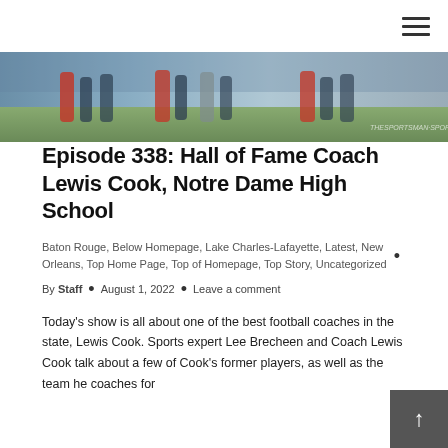≡
[Figure (photo): A sports photo strip at the top showing football players, with a watermark overlay.]
Episode 338: Hall of Fame Coach Lewis Cook, Notre Dame High School
Baton Rouge, Below Homepage, Lake Charles-Lafayette, Latest, New Orleans, Top Home Page, Top of Homepage, Top Story, Uncategorized
By Staff • August 1, 2022 • Leave a comment
Today's show is all about one of the best football coaches in the state, Lewis Cook. Sports expert Lee Brecheen and Coach Lewis Cook talk about a few of Cook's former players, as well as the team he coaches for